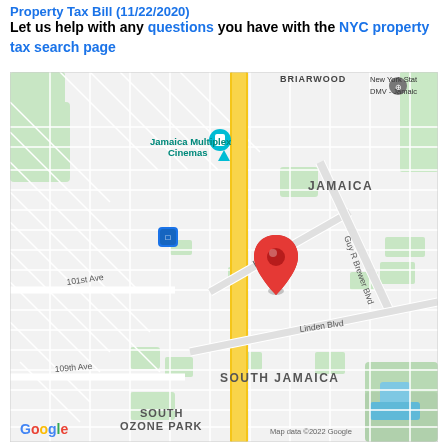Property Tax Bill (11/22/2020)
Let us help with any questions you have with the NYC property tax search page
[Figure (map): Google Map showing Jamaica, Queens, NY area with a red location pin dropped near Liberty Ave, south of JAMAICA neighborhood. Notable labels: BRIARWOOD (top), New York State DMV - Jamaica (top right), Jamaica Multiplex Cinemas (upper left with teal pin), JAMAICA (middle right), 101st Ave, Liberty Ave, Guy R Brewer Blvd, Linden Blvd, 109th Ave, SOUTH JAMAICA, SOUTH OZONE PARK. Google logo bottom left, 'Map data ©2022 Google' bottom right.]